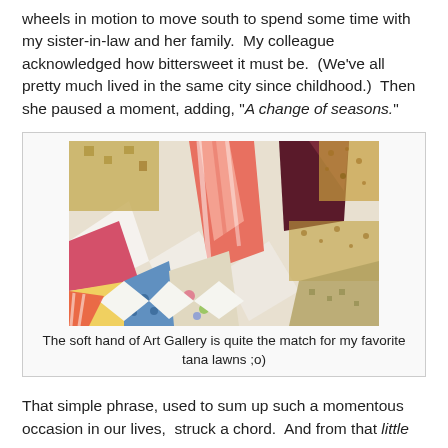wheels in motion to move south to spend some time with my sister-in-law and her family.  My colleague acknowledged how bittersweet it must be.  (We've all pretty much lived in the same city since childhood.)  Then she paused a moment, adding, "A change of seasons."
[Figure (photo): Close-up photograph of a colorful patchwork quilt with triangular fabric pieces in various patterns including floral, geometric, and printed designs in pink, red, gold, green, blue, and white tones.]
The soft hand of Art Gallery is quite the match for my favorite tana lawns ;o)
That simple phrase, used to sum up such a momentous occasion in our lives,  struck a chord.  And from that little